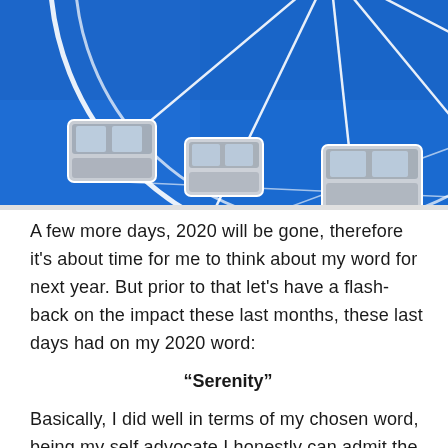[Figure (photo): Close-up photograph of a large Ferris wheel with white gondola cabins against a bright blue sky]
A few more days, 2020 will be gone, therefore it's about time for me to think about my word for next year. But prior to that let's have a flash-back on the impact these last months, these last days had on my 2020 word:
“Serenity”
Basically, I did well in terms of my chosen word, being my self advocate I honestly can admit the fact. I won’t list all the events that occurred but considering the pandemic, day to day life, ups and downs, honestly my targeted word was reached. On a personal tone, regarding family and